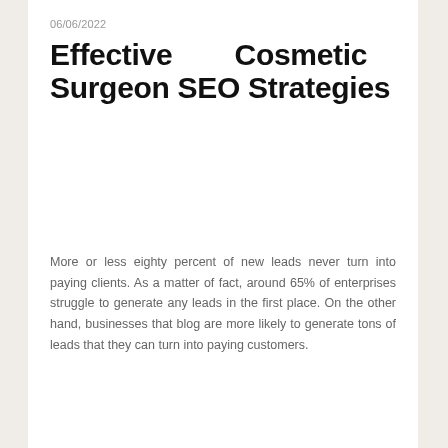06/06/2022
Effective Cosmetic Surgeon SEO Strategies
More or less eighty percent of new leads never turn into paying clients. As a matter of fact, around 65% of enterprises struggle to generate any leads in the first place. On the other hand, businesses that blog are more likely to generate tons of leads that they can turn into paying customers.